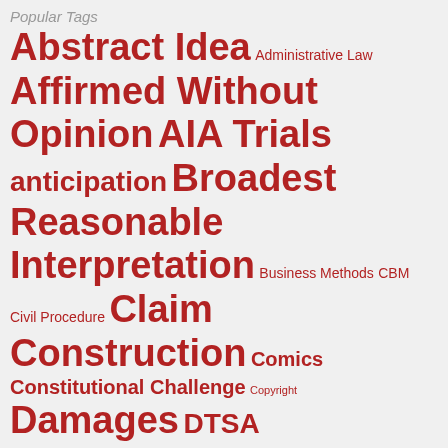Popular Tags
Abstract Idea Administrative Law Affirmed Without Opinion AIA Trials anticipation Broadest Reasonable Interpretation Business Methods CBM Civil Procedure Claim Construction Comics Constitutional Challenge Copyright Damages DTSA Enablement Ethics Events Exhaustion Federal Circuit En Banc First to Invent Inequitable Conduct IP Market IPR Licenses Marking obviousness On Sale Patent Stats Personal Jurisdiction PGR